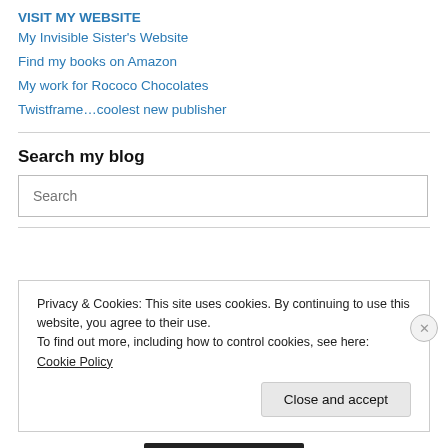VISIT MY WEBSITE
My Invisible Sister's Website
Find my books on Amazon
My work for Rococo Chocolates
Twistframe…coolest new publisher
Search my blog
Search
Privacy & Cookies: This site uses cookies. By continuing to use this website, you agree to their use.
To find out more, including how to control cookies, see here: Cookie Policy
Close and accept